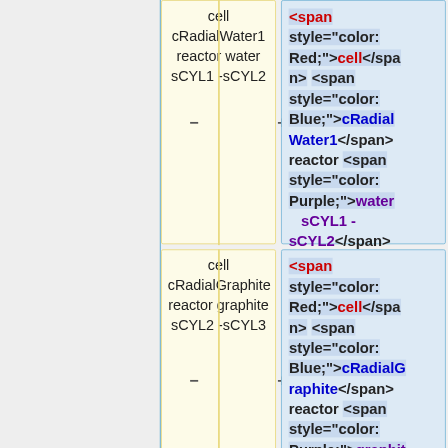cell cRadialWater1 reactor water sCYL1 -sCYL2
<span style="color: Red;">cell</span> <span style="color: Blue;">cRadialWater1</span> reactor <span style="color: Purple;">water sCYL1 - sCYL2</span>
cell cRadialGraphite reactor graphite sCYL2 -sCYL3
<span style="color: Red;">cell</span> <span style="color: Blue;">cRadialGraphite</span> reactor <span style="color: Purple;">graphit... sCYL2...</span>